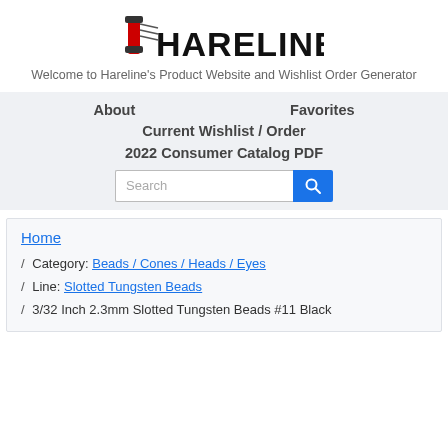[Figure (logo): Hareline logo with a red spool and black text reading HARELINE]
Welcome to Hareline's Product Website and Wishlist Order Generator
About
Favorites
Current Wishlist / Order
2022 Consumer Catalog PDF
Search
Home
/ Category: Beads / Cones / Heads / Eyes
/ Line: Slotted Tungsten Beads
/ 3/32 Inch 2.3mm Slotted Tungsten Beads #11 Black